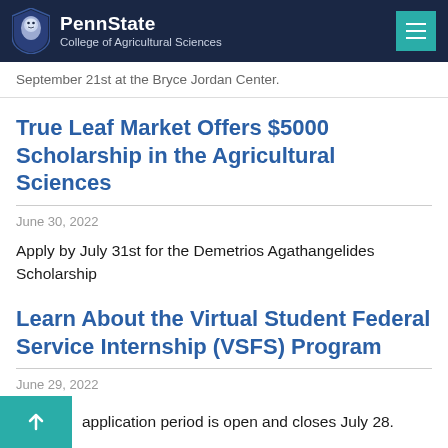PennState College of Agricultural Sciences
September 21st at the Bryce Jordan Center.
True Leaf Market Offers $5000 Scholarship in the Agricultural Sciences
June 30, 2022
Apply by July 31st for the Demetrios Agathangelides Scholarship
Learn About the Virtual Student Federal Service Internship (VSFS) Program
June 29, 2022
application period is open and closes July 28.